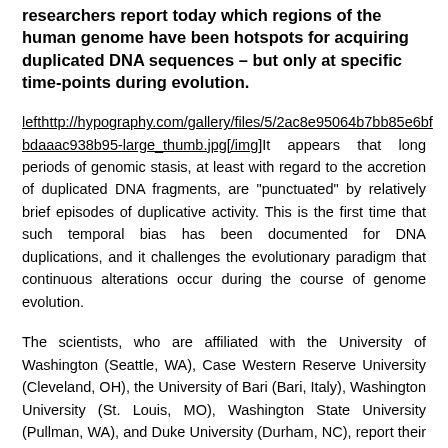researchers report today which regions of the human genome have been hotspots for acquiring duplicated DNA sequences – but only at specific time-points during evolution.
lefthttp://hypography.com/gallery/files/5/2ac8e95064b7bb85e6bfbdaaac938b95-large_thumb.jpg[/img]It appears that long periods of genomic stasis, at least with regard to the accretion of duplicated DNA fragments, are "punctuated" by relatively brief episodes of duplicative activity. This is the first time that such temporal bias has been documented for DNA duplications, and it challenges the evolutionary paradigm that continuous alterations occur during the course of genome evolution.
The scientists, who are affiliated with the University of Washington (Seattle, WA), Case Western Reserve University (Cleveland, OH), the University of Bari (Bari, Italy), Washington University (St. Louis, MO), Washington State University (Pullman, WA), and Duke University (Durham, NC), report their findings online today in the journal Genome Research.